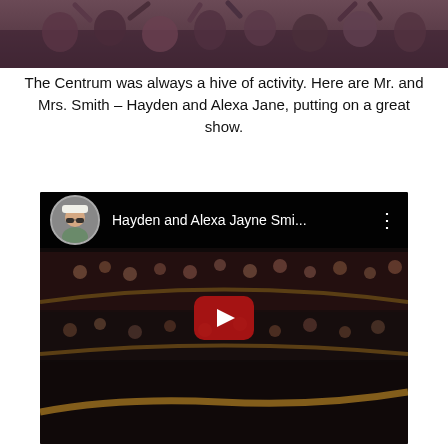[Figure (photo): Top portion of a photograph showing people in what appears to be a cruise ship atrium/centrum area, partially cropped at top]
The Centrum was always a hive of activity. Here are Mr. and Mrs. Smith – Hayden and Alexa Jane, putting on a great show.
[Figure (screenshot): YouTube video embed thumbnail showing a cruise ship centrum/atrium filled with people on multiple levels, with a channel avatar of a man wearing a white hat and sunglasses, video title 'Hayden and Alexa Jayne Smi...' and a red play button in the center]